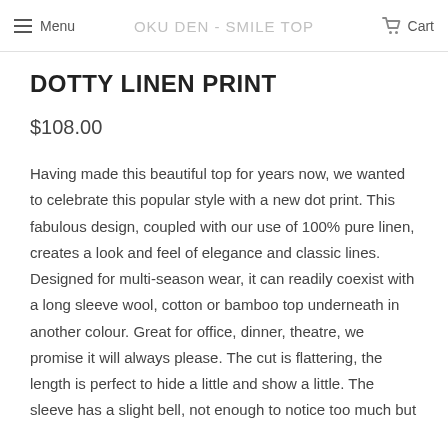Menu  OKU DEN - SMILE TOP  Cart
DOTTY LINEN PRINT
$108.00
Having made this beautiful top for years now, we wanted to celebrate this popular style with a new dot print. This fabulous design, coupled with our use of 100% pure linen, creates a look and feel of elegance and classic lines. Designed for multi-season wear, it can readily coexist with a long sleeve wool, cotton or bamboo top underneath in another colour. Great for office, dinner, theatre, we promise it will always please. The cut is flattering, the length is perfect to hide a little and show a little. The sleeve has a slight bell, not enough to notice too much but